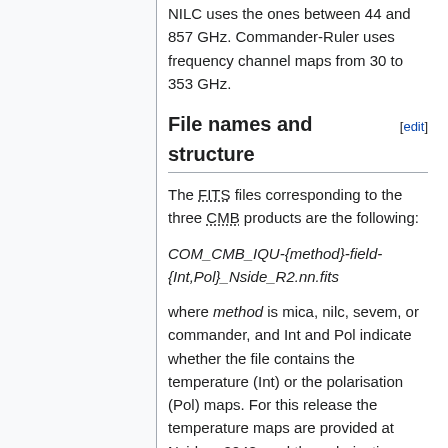NILC uses the ones between 44 and 857 GHz. Commander-Ruler uses frequency channel maps from 30 to 353 GHz.
File names and structure [edit]
The FITS files corresponding to the three CMB products are the following:
COM_CMB_IQU-{method}-field-{Int,Pol}_Nside_R2.nn.fits
where method is mica, nilc, sevem, or commander, and Int and Pol indicate whether the file contains the temperature (Int) or the polarisation (Pol) maps. For this release the temperature maps are provided at Nside = 2048, and the polarisation maps at Nside = 1024.
The files contain
a minimal primary extension with no data